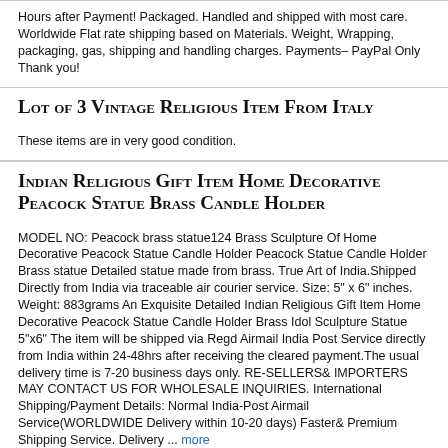Hours after Payment! Packaged. Handled and shipped with most care. Worldwide Flat rate shipping based on Materials. Weight, Wrapping, packaging, gas, shipping and handling charges. Payments– PayPal Only Thank you!
Lot of 3 Vintage Religious Item From Italy
These items are in very good condition.
Indian Religious Gift Item Home Decorative Peacock Statue Brass Candle Holder
MODEL NO: Peacock brass statue124 Brass Sculpture Of Home Decorative Peacock Statue Candle Holder Peacock Statue Candle Holder Brass statue Detailed statue made from brass. True Art of India.Shipped Directly from India via traceable air courier service. Size: 5" x 6" inches. Weight: 883grams An Exquisite Detailed Indian Religious Gift Item Home Decorative Peacock Statue Candle Holder Brass Idol Sculpture Statue 5"x6" The item will be shipped via Regd Airmail India Post Service directly from India within 24-48hrs after receiving the cleared payment.The usual delivery time is 7-20 business days only. RE-SELLERS& IMPORTERS MAY CONTACT US FOR WHOLESALE INQUIRIES. International Shipping/Payment Details: Normal India-Post Airmail Service(WORLDWIDE Delivery within 10-20 days) Faster& Premium Shipping Service. Delivery ... more
Angel Powers ( Send the Devil to Hell ) Air Spray ( unusual